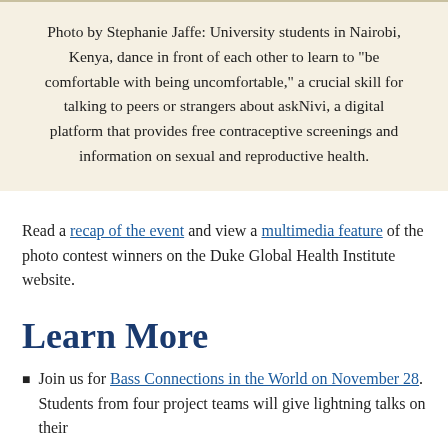Photo by Stephanie Jaffe: University students in Nairobi, Kenya, dance in front of each other to learn to "be comfortable with being uncomfortable," a crucial skill for talking to peers or strangers about askNivi, a digital platform that provides free contraceptive screenings and information on sexual and reproductive health.
Read a recap of the event and view a multimedia feature of the photo contest winners on the Duke Global Health Institute website.
Learn More
Join us for Bass Connections in the World on November 28. Students from four project teams will give lightning talks on their